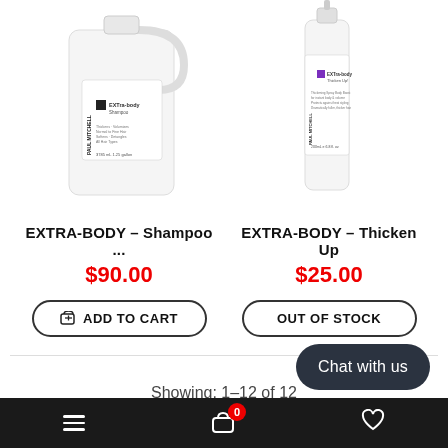[Figure (photo): Paul Mitchell EXTRA-BODY Shampoo in a large white gallon jug container]
[Figure (photo): Paul Mitchell EXTRA-BODY Thicken Up in a white bottle with purple label detail]
EXTRA-BODY – Shampoo ...
$90.00
EXTRA-BODY – Thicken Up
$25.00
ADD TO CART
OUT OF STOCK
Showing: 1–12 of 12
Chat with us